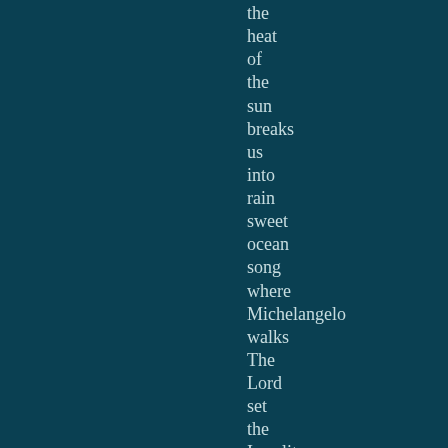the
heat
of
the
sun
breaks
us
into
rain
sweet
ocean
song
where
Michelangelo
walks
The
Lord
set
the
Israelites
f